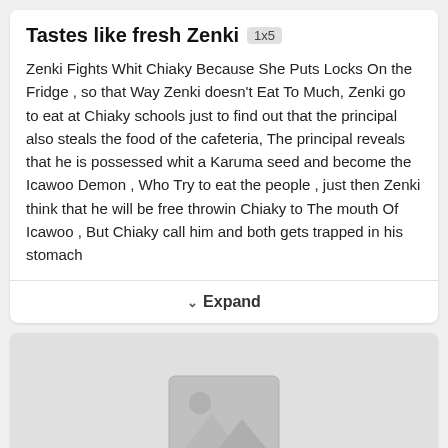Tastes like fresh Zenki 1x5
Zenki Fights Whit Chiaky Because She Puts Locks On the Fridge , so that Way Zenki doesn't Eat To Much, Zenki go to eat at Chiaky schools just to find out that the principal also steals the food of the cafeteria, The principal reveals that he is possessed whit a Karuma seed and become the Icawoo Demon , Who Try to eat the people , just then Zenki think that he will be free throwin Chiaky to The mouth Of Icawoo , But Chiaky call him and both gets trapped in his stomach
Expand
[Figure (illustration): Placeholder image icon showing a grey square with a mountain landscape and circle icon, representing a missing or unavailable image]